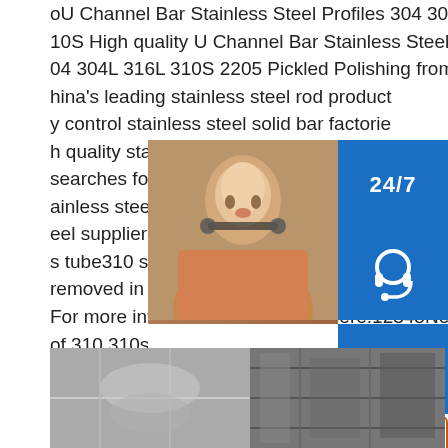oU Channel Bar Stainless Steel Profiles 304 304L 316L 310S High quality U Channel Bar Stainless Steel Profiles 304 304L 316L 310S 2205 Pickled Polishing from China's leading stainless steel rod product y control stainless steel solid bar factories h quality stainless steel solid bar produc searches for 310 310s stainless steel pic ainless steel tube310 stainless round ba eel suppliers310 stainless steel specifica s tube310 stainless steel pipe suppliers removed in response to a notice of local For more information,please see here.12345NextVideos of 310 310s stainless steel pickled angle bars
[Figure (screenshot): Customer support widget with 24/7 badge, headset icon, phone icon, Skype icon, photo of customer service agent, PROVIDE Empowering Customers text, and online live button]
[Figure (photo): Industrial stainless steel bar/tube manufacturing facility photo at bottom of page]